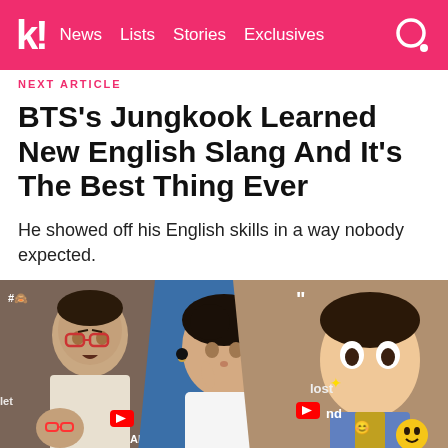k! News  Lists  Stories  Exclusives
NEXT ARTICLE
BTS's Jungkook Learned New English Slang And It's The Best Thing Ever
He showed off his English skills in a way nobody expected.
[Figure (photo): Collage of three photos showing BTS members, with the center panel featuring Jungkook in a white outfit making a hand gesture against a blue background, left panel showing another BTS member with a funny expression, and right panel showing an animated-style character with overlay text 'lost' and 'and']